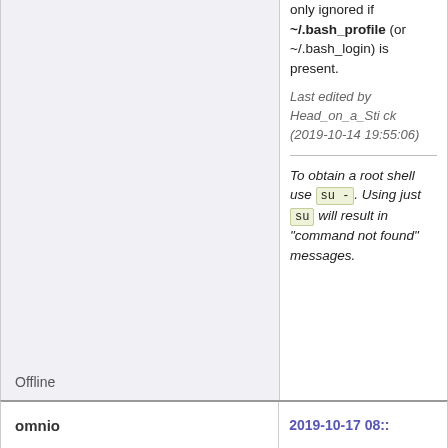only ignored if ~/.bash_profile (or ~/.bash_login) is present.
Last edited by Head_on_a_Stick (2019-10-14 19:55:06)
To obtain a root shell use su -. Using just su will result in "command not found" messages.
Offline
omnio
2019-10-17 08::